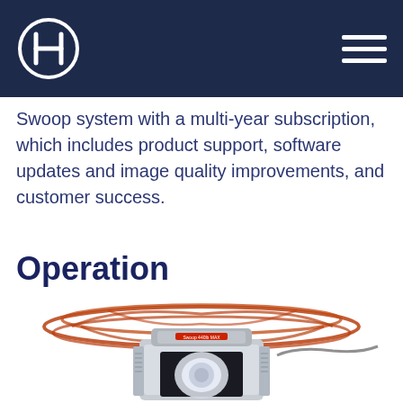Healogics / Swoop MRI
Swoop system with a multi-year subscription, which includes product support, software updates and image quality improvements, and customer success.
Operation
[Figure (photo): Photo of the Swoop portable MRI device with orange wire antenna array on top and a light source visible in the lower section of the device.]